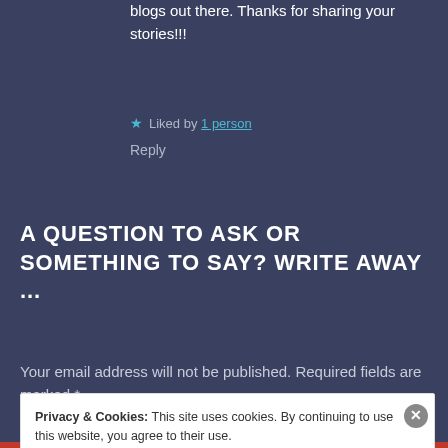blogs out there. Thanks for sharing your stories!!!
★ Liked by 1 person
Reply
A QUESTION TO ASK OR SOMETHING TO SAY? WRITE AWAY ...
Your email address will not be published. Required fields are marked *
Privacy & Cookies: This site uses cookies. By continuing to use this website, you agree to their use. To find out more, including how to control cookies, see here: Cookie Policy
Close and accept